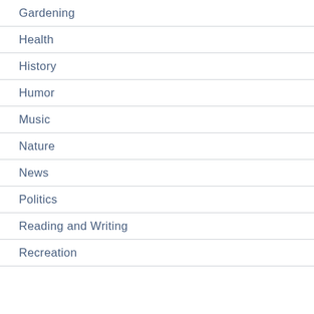Gardening
Health
History
Humor
Music
Nature
News
Politics
Reading and Writing
Recreation